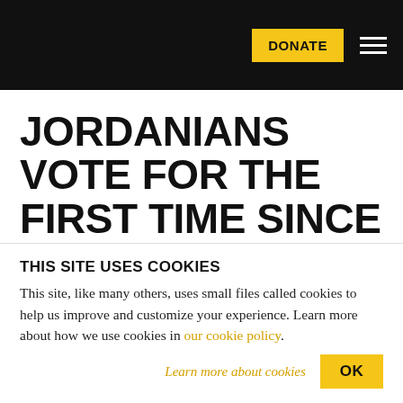DONATE [navigation bar with hamburger menu]
JORDANIANS VOTE FOR THE FIRST TIME SINCE ARAB SPRING
BY TRNN
JANUARY 24, 2012
[Figure (infographic): Social sharing icons: Twitter (blue circle), Facebook (blue circle), Reddit (light grey circle), Email (grey circle)]
THIS SITE USES COOKIES
This site, like many others, uses small files called cookies to help us improve and customize your experience. Learn more about how we use cookies in our cookie policy.
Learn more about cookies   OK